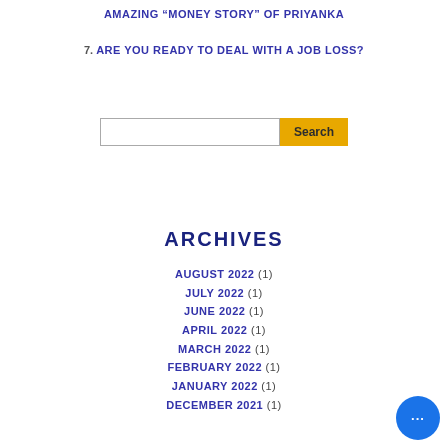AMAZING “MONEY STORY” OF PRIYANKA
7. ARE YOU READY TO DEAL WITH A JOB LOSS?
[Figure (other): Search input box with yellow Search button]
ARCHIVES
AUGUST 2022 (1)
JULY 2022 (1)
JUNE 2022 (1)
APRIL 2022 (1)
MARCH 2022 (1)
FEBRUARY 2022 (1)
JANUARY 2022 (1)
DECEMBER 2021 (1)